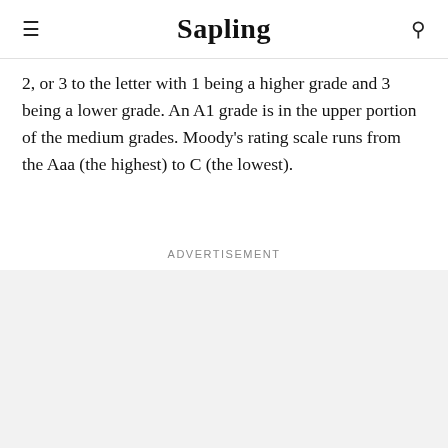Sapling
2, or 3 to the letter with 1 being a higher grade and 3 being a lower grade. An A1 grade is in the upper portion of the medium grades. Moody's rating scale runs from the Aaa (the highest) to C (the lowest).
Advertisement